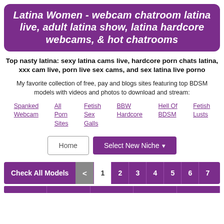Latina Women - webcam chatroom latina live, adult latina show, latina hardcore webcams, & hot chatrooms
Top nasty latina: sexy latina cams live, hardcore porn chats latina, xxx cam live, porn live sex cams, and sex latina live porno
My favorite collection of free, pay and blogs sites featuring top BDSM models with videos and photos to download and stream:
Spanked Webcam
All Porn Sites
Fetish Sex Galls
BBW Hardcore
Hell Of BDSM
Fetish Lusts
Home   Select New Niche
Check All Models  <  1  2  3  4  5  6  7